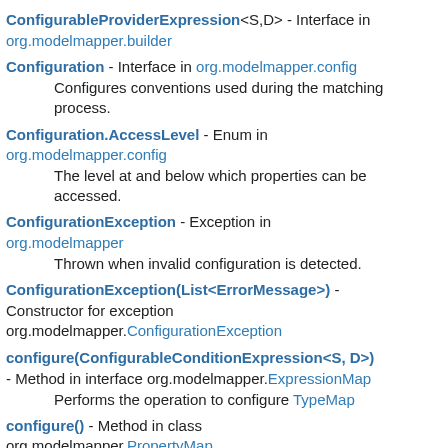ConfigurableProviderExpression<S,D> - Interface in org.modelmapper.builder
Configuration - Interface in org.modelmapper.config
    Configures conventions used during the matching process.
Configuration.AccessLevel - Enum in org.modelmapper.config
    The level at and below which properties can be accessed.
ConfigurationException - Exception in org.modelmapper
    Thrown when invalid configuration is detected.
ConfigurationException(List<ErrorMessage>) - Constructor for exception org.modelmapper.ConfigurationException
configure(ConfigurableConditionExpression<S, D>) - Method in interface org.modelmapper.ExpressionMap
    Performs the operation to configure TypeMap
configure() - Method in class org.modelmapper.PropertyMap
    Called by ModelMapper to configure mappings as defined in the PropertyMap.
ConstantMapping - Interface in org.modelmapper.spi
    A mapping of a source constant to a destination